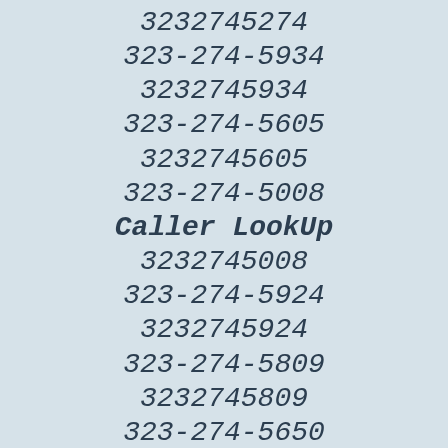3232745274
323-274-5934
3232745934
323-274-5605
3232745605
323-274-5008
Caller LookUp
3232745008
323-274-5924
3232745924
323-274-5809
3232745809
323-274-5650
3232745650
323-274-5522
3232745522